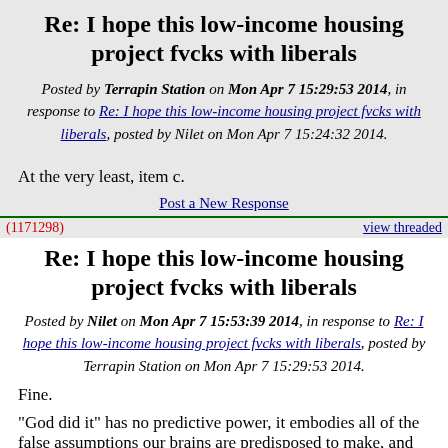Re: I hope this low-income housing project fvcks with liberals
Posted by Terrapin Station on Mon Apr 7 15:29:53 2014, in response to Re: I hope this low-income housing project fvcks with liberals, posted by Nilet on Mon Apr 7 15:24:32 2014.
At the very least, item c.
Post a New Response
(1171298)
view threaded
Re: I hope this low-income housing project fvcks with liberals
Posted by Nilet on Mon Apr 7 15:53:39 2014, in response to Re: I hope this low-income housing project fvcks with liberals, posted by Terrapin Station on Mon Apr 7 15:29:53 2014.
Fine.
"God did it" has no predictive power, it embodies all of the false assumptions our brains are predisposed to make, and many people